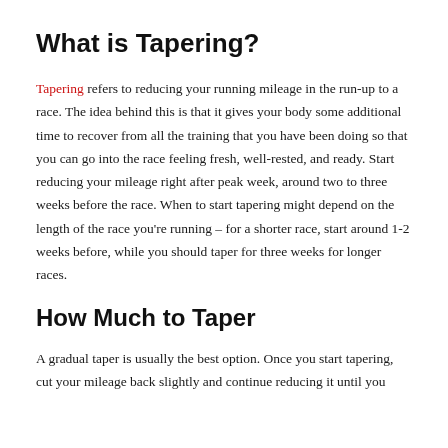What is Tapering?
Tapering refers to reducing your running mileage in the run-up to a race. The idea behind this is that it gives your body some additional time to recover from all the training that you have been doing so that you can go into the race feeling fresh, well-rested, and ready. Start reducing your mileage right after peak week, around two to three weeks before the race. When to start tapering might depend on the length of the race you’re running – for a shorter race, start around 1-2 weeks before, while you should taper for three weeks for longer races.
How Much to Taper
A gradual taper is usually the best option. Once you start tapering, cut your mileage back slightly and continue reducing it until you